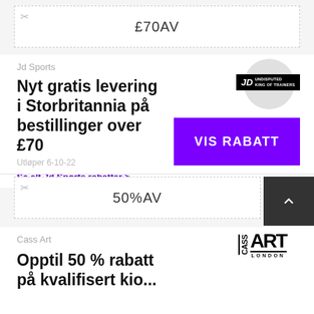£70AV
Jd Sports
[Figure (logo): JD Undisputed King of Trainers logo]
Nyt gratis levering i Storbritannia på bestillinger over £70
VIS RABATT
Utløper 6-10-22
Se alt Jd Sports rabatter >
50%AV
Cass Art
[Figure (logo): Cass Art London logo]
Opptil 50 % rabatt på kvalifisert kio...